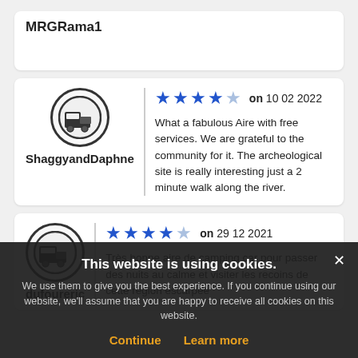MRGRama1
ShaggyandDaphne — ★★★★☆ on 10 02 2022 — What a fabulous Aire with free services. We are grateful to the community for it. The archeological site is really interesting just a 2 minute walk along the river.
dufoureric — ★★★★☆ on 29 12 2021 — Très bonne aire de camping car pour passer des nuits au calme et visiter les recoins de cette région escarpée et encore un grand merci à ce village pour sont aire de ...
This website is using cookies. We use them to give you the best experience. If you continue using our website, we'll assume that you are happy to receive all cookies on this website. Continue  Learn more